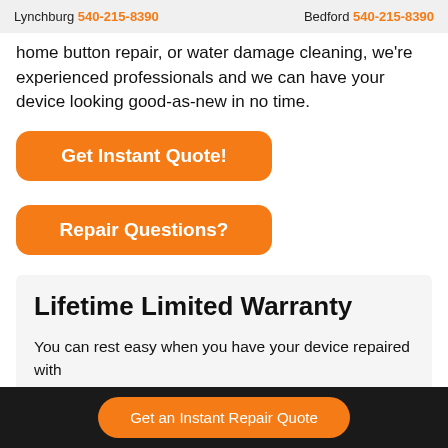Lynchburg 540-215-8390   Bedford 540-215-8390
home button repair, or water damage cleaning, we're experienced professionals and we can have your device looking good-as-new in no time.
Get Instant Quote!
Repair Questions?
Lifetime Limited Warranty
You can rest easy when you have your device repaired with
Get an Instant Repair Quote